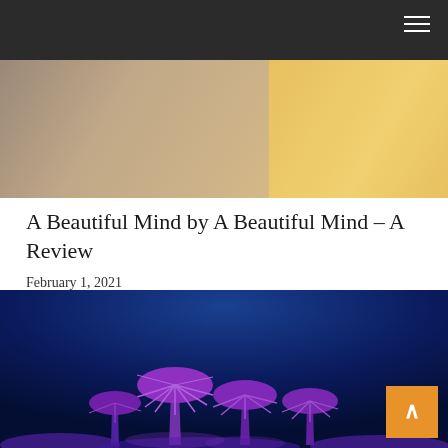Navigation bar with hamburger menu
[Figure (photo): Close-up photo of a person's hands on a laptop keyboard, wearing a yellow garment, shot from above]
A Beautiful Mind by A Beautiful Mind – A Review
February 1, 2021
[Figure (photo): Night photo of illuminated supertree structures at Gardens by the Bay, Singapore, against a deep blue sky, with purple/pink lighting on the tree canopies and flowers in the foreground]